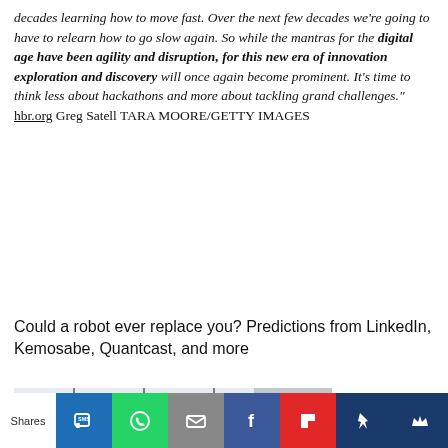decades learning how to move fast. Over the next few decades we're going to have to relearn how to go slow again. So while the mantras for the digital age have been agility and disruption, for this new era of innovation exploration and discovery will once again become prominent. It's time to think less about hackathons and more about tackling grand challenges." hbr.org Greg Satell TARA MOORE/GETTY IMAGES
Could a robot ever replace you? Predictions from LinkedIn, Kemosabe, Quantcast, and more
[Figure (photo): Interior office or modern space with pendant lights hanging from ceiling, large windows, and a red British telephone box (phone booth) on the right side.]